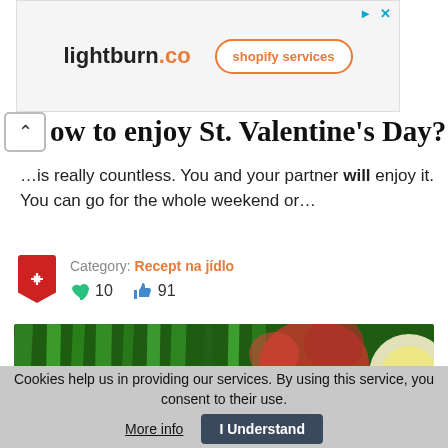[Figure (screenshot): Advertisement banner for lightburn.co offering shopify services]
ow to enjoy St. Valentine's Day?
…is really countless. You and your partner will enjoy it. You can go for the whole weekend or…
Category: Recept na jídlo  ♥ 10  👍 91
[Figure (photo): Close-up photo of green onions, red flowers, and lemon]
Cookies help us in providing our services. By using this service, you consent to their use. More info  I Understand